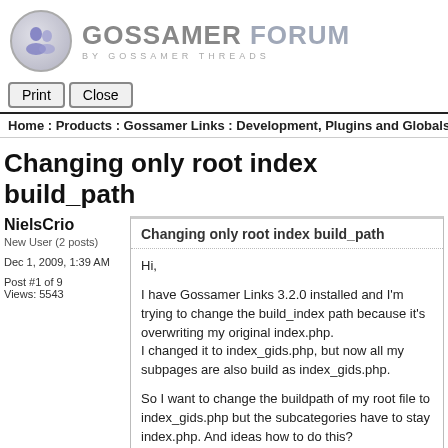[Figure (logo): Gossamer Forum logo with circular icon showing two user figures and text GOSSAMER FORUM BY GOSSAMER THREADS]
Print   Close
Home : Products : Gossamer Links : Development, Plugins and Globals :
Changing only root index build_path
NielsCrio
New User (2 posts)

Dec 1, 2009, 1:39 AM

Post #1 of 9
Views: 5543
Changing only root index build_path
Hi,

I have Gossamer Links 3.2.0 installed and I'm trying to change the build_index path because it's overwriting my original index.php.
I changed it to index_gids.php, but now all my subpages are also build as index_gids.php.

So I want to change the buildpath of my root file to index_gids.php but the subcategories have to stay index.php. And ideas how to do this?